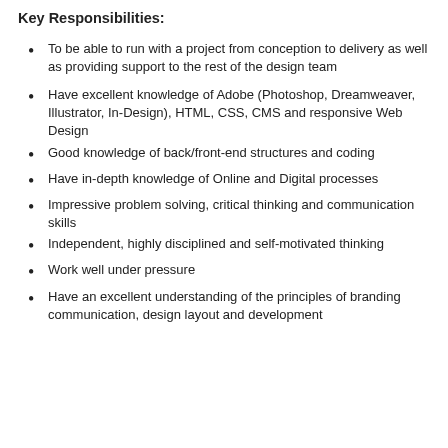Key Responsibilities:
To be able to run with a project from conception to delivery as well as providing support to the rest of the design team
Have excellent knowledge of Adobe (Photoshop, Dreamweaver, Illustrator, In-Design), HTML, CSS, CMS and responsive Web Design
Good knowledge of back/front-end structures and coding
Have in-depth knowledge of Online and Digital processes
Impressive problem solving, critical thinking and communication skills
Independent, highly disciplined and self-motivated thinking
Work well under pressure
Have an excellent understanding of the principles of branding communication, design layout and development